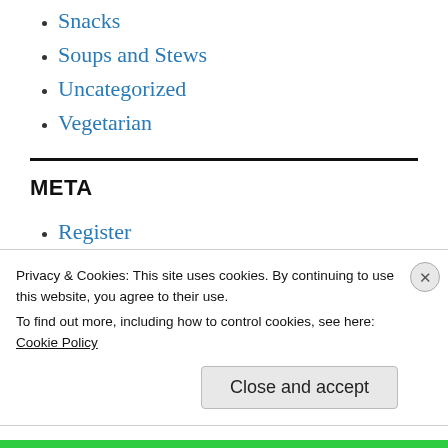Snacks
Soups and Stews
Uncategorized
Vegetarian
META
Register
Log in
Privacy & Cookies: This site uses cookies. By continuing to use this website, you agree to their use.
To find out more, including how to control cookies, see here:
Cookie Policy
Close and accept